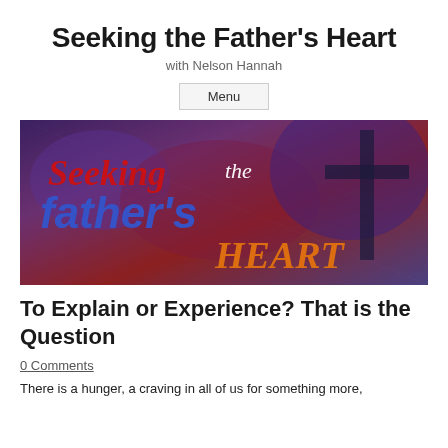Seeking the Father's Heart
with Nelson Hannah
Menu
[Figure (illustration): Decorative banner image with stylized text reading 'Seeking the father's HEART' in red, blue, and orange lettering on a dark textured background with a cross silhouette.]
To Explain or Experience? That is the Question
0 Comments
There is a hunger, a craving in all of us for something more,